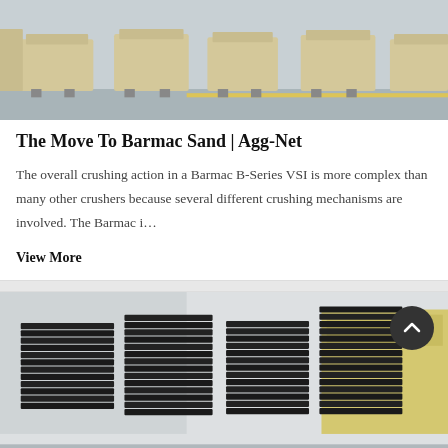[Figure (photo): Industrial machines (Barmac VSI crushers) on a factory floor with a yellow stripe visible]
The Move To Barmac Sand | Agg-Net
The overall crushing action in a Barmac B-Series VSI is more complex than many other crushers because several different crushing mechanisms are involved. The Barmac i…
View More
[Figure (photo): Close-up of stacked black metal wear parts or crusher plates in a factory setting]